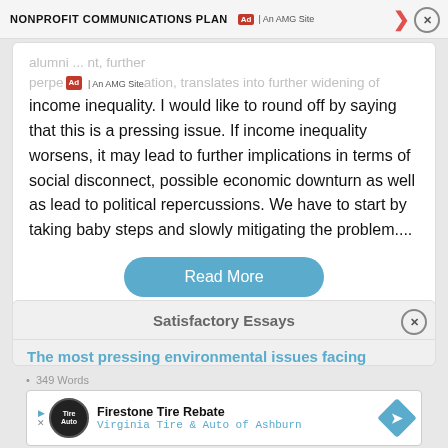NONPROFIT COMMUNICATIONS PLAN
alumni ... nt, further perpetuation, translates into further widening of income inequality. I would like to round off by saying that this is a pressing issue. If income inequality worsens, it may lead to further implications in terms of social disconnect, possible economic downturn as well as lead to political repercussions. We have to start by taking baby steps and slowly mitigating the problem....
Read More
Satisfactory Essays
The most pressing environmental issues facing...
349 Words